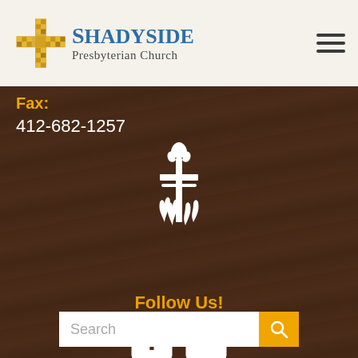[Figure (logo): Shadyside Presbyterian Church logo with golden cross mosaic and blue/gray text]
Fax:
412-682-1257
[Figure (logo): PCUSA Presbyterian Church USA emblem - white symbol on dark brown background showing cross, book, flames, and dove]
Follow Us!
[Figure (illustration): Facebook and YouTube social media icons in white on dark brown background]
[Figure (screenshot): Search bar with orange search button]